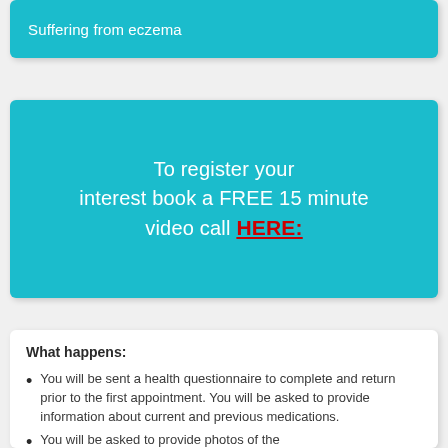Suffering from eczema
To register your interest book a FREE 15 minute video call HERE:
What happens:
You will be sent a health questionnaire to complete and return prior to the first appointment. You will be asked to provide information about current and previous medications.
You will be asked to provide photos of the...